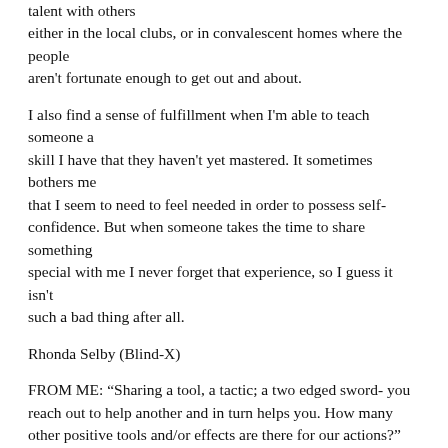talent with others either in the local clubs, or in convalescent homes where the people aren't fortunate enough to get out and about.
I also find a sense of fulfillment when I'm able to teach someone a skill I have that they haven't yet mastered. It sometimes bothers me that I seem to need to feel needed in order to possess self-confidence. But when someone takes the time to share something special with me I never forget that experience, so I guess it isn't such a bad thing after all.
Rhonda Selby (Blind-X)
FROM ME: “Sharing a tool, a tactic; a two edged sword- you reach out to help another and in turn helps you. How many other positive tools and/or effects are there for our actions?”
**44. “Alright Rhonda same here! There’s no better booster of self-esteem, than having some one come up to you and say, hey, that